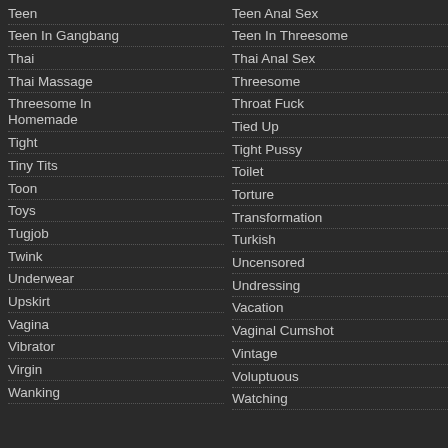Teen
Teen In Gangbang
Thai
Thai Massage
Threesome In Homemade
Tight
Tiny Tits
Toon
Toys
Tugjob
Twink
Underwear
Upskirt
Vagina
Vibrator
Virgin
Wanking
Teen Anal Sex
Teen In Threesome
Thai Anal Sex
Threesome
Throat Fuck
Tied Up
Tight Pussy
Toilet
Torture
Transformation
Turkish
Uncensored
Undressing
Vacation
Vaginal Cumshot
Vintage
Voluptuous
Watching